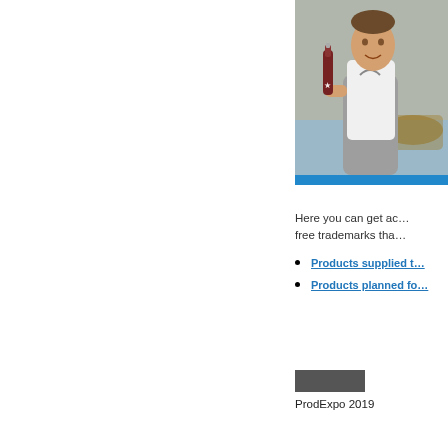[Figure (photo): Person in apron holding a wine bottle in a cellar, framed with a blue border]
Here you can get ac… free trademarks tha…
Products supplied t…
Products planned fo…
[Figure (logo): Dark rectangular logo block]
ProdExpo 2019